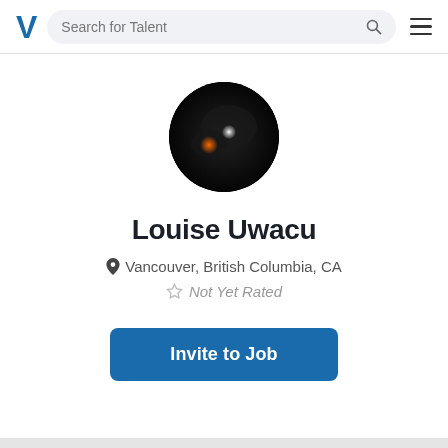V  Search for Talent
[Figure (photo): Circular profile photo with dark background, white light in center, orange-red glow on left side]
Louise Uwacu
Vancouver, British Columbia, CA
Not Yet Rated
Invite to Job